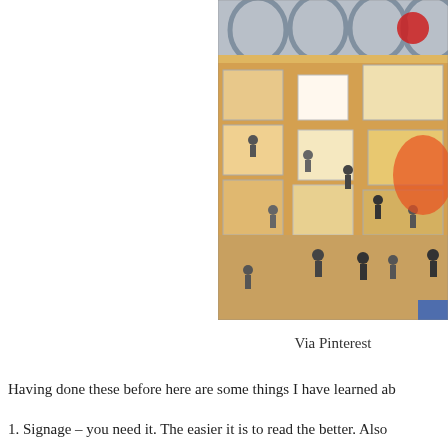[Figure (photo): Aerial/overhead view of a large indoor trade show or craft fair with numerous vendor booths, visitors walking through aisles, warm lighting, arched architecture visible in the background.]
Via Pinterest
Having done these before here are some things I have learned ab
1. Signage – you need it. The easier it is to read the better. Also